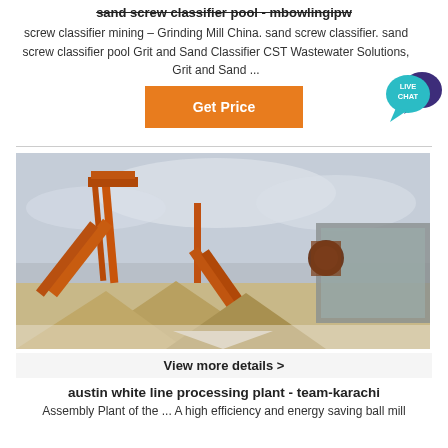sand screw classifier pool - mbowlingipw
screw classifier mining – Grinding Mill China. sand screw classifier. sand screw classifier pool Grit and Sand Classifier CST Wastewater Solutions, Grit and Sand ...
[Figure (other): Orange 'Get Price' button with teal/purple 'LIVE CHAT' speech bubble icon to the right]
[Figure (photo): Industrial plant with orange conveyor belts and machinery against a cloudy sky, with sand piles in the foreground]
View more details >
austin white line processing plant - team-karachi
Assembly Plant of the ... A high efficiency and energy saving ball mill